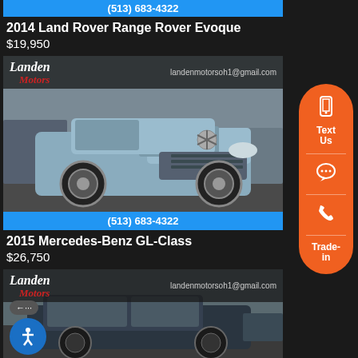(513) 683-4322
2014 Land Rover Range Rover Evoque
$19,950
[Figure (photo): 2015 Mercedes-Benz GL-Class SUV in silver/blue at a dealership lot, with Landen Motors branding overlay and phone number (513) 683-4322]
2015 Mercedes-Benz GL-Class
$26,750
[Figure (photo): Third car listing photo showing a dark-colored SUV at Landen Motors dealership lot]